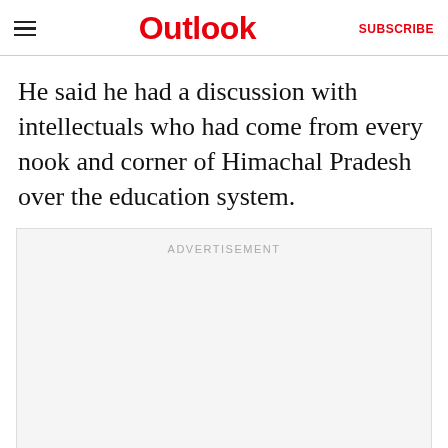Outlook | SUBSCRIBE
He said he had a discussion with intellectuals who had come from every nook and corner of Himachal Pradesh over the education system.
[Figure (other): Advertisement placeholder box with 'ADVERTISEMENT' label in light gray text on light gray background]